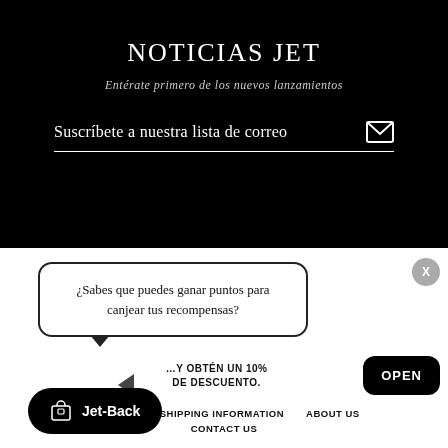NOTICIAS JET
Entérate primero de los nuevos lanzamientos
Suscríbete a nuestra lista de correo
¿Sabes que puedes ganar puntos para canjear tus recompensas?
Y OBTÉN UN 10% DE DESCUENTO.
OPEN
X
Jet-Back
RETURNS   SHIPPING INFORMATION   ABOUT US   CONTACT US